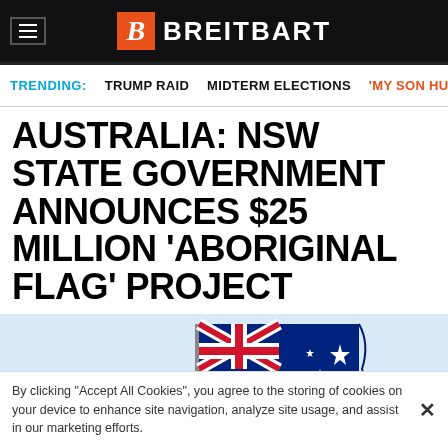BREITBART
TRENDING: TRUMP RAID   MIDTERM ELECTIONS   'MY SON HUN'
AUSTRALIA: NSW STATE GOVERNMENT ANNOUNCES $25 MILLION 'ABORIGINAL FLAG' PROJECT
[Figure (photo): Australian flag waving against a light blue sky, with flagpole visible]
By clicking “Accept All Cookies”, you agree to the storing of cookies on your device to enhance site navigation, analyze site usage, and assist in our marketing efforts.